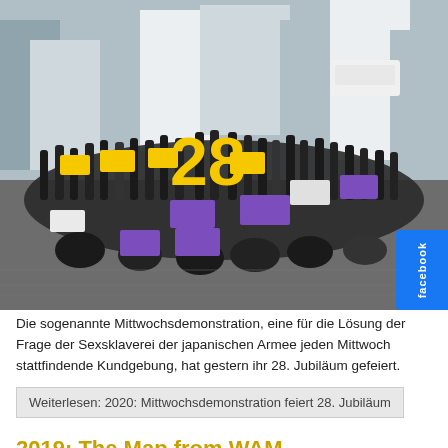[Figure (photo): Protest demonstration photo showing a large crowd of people sitting and standing, holding yellow and purple signs with Korean text. A large yellow '28' number is visible. People are dressed in black. Urban setting with tall buildings in background.]
Die sogenannte Mittwochsdemonstration, eine für die Lösung der Frage der Sexsklaverei der japanischen Armee jeden Mittwoch stattfindende Kundgebung, hat gestern ihr 28. Jubiläum gefeiert.
Weiterlesen: 2020: Mittwochsdemonstration feiert 28. Jubiläum
2019: The Map from WAM
14. Dezember 2019 | Drucken | E-Mail